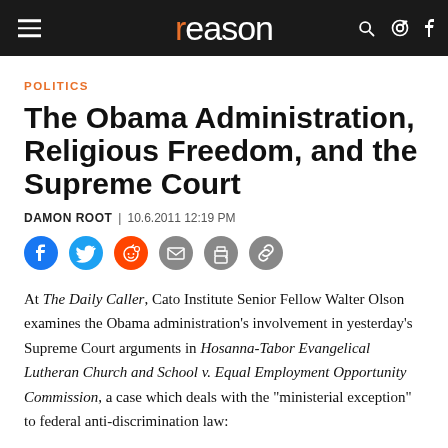reason
POLITICS
The Obama Administration, Religious Freedom, and the Supreme Court
DAMON ROOT | 10.6.2011 12:19 PM
At The Daily Caller, Cato Institute Senior Fellow Walter Olson examines the Obama administration's involvement in yesterday's Supreme Court arguments in Hosanna-Tabor Evangelical Lutheran Church and School v. Equal Employment Opportunity Commission, a case which deals with the "ministerial exception" to federal anti-discrimination law: